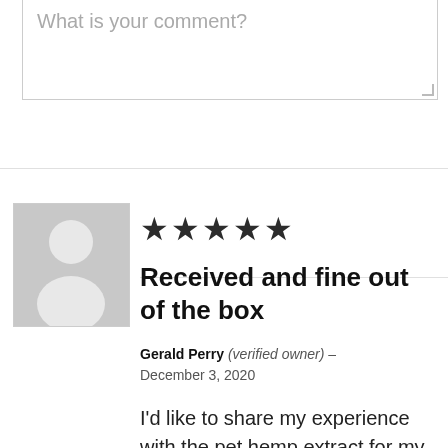What is your comment?
[Figure (illustration): Generic user avatar placeholder - grey square with white silhouette of a person]
[Figure (other): 5 filled star rating icons]
Received and fine out of the box
Gerald Perry (verified owner) – December 3, 2020
I'd like to share my experience with the pet hemp extract for my senior cat and he's much calmer